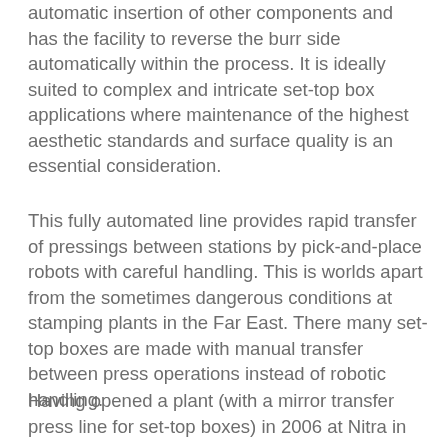automatic insertion of other components and has the facility to reverse the burr side automatically within the process. It is ideally suited to complex and intricate set-top box applications where maintenance of the highest aesthetic standards and surface quality is an essential consideration.
This fully automated line provides rapid transfer of pressings between stations by pick-and-place robots with careful handling. This is worlds apart from the sometimes dangerous conditions at stamping plants in the Far East. There many set-top boxes are made with manual transfer between press operations instead of robotic handling.
Having opened a plant (with a mirror transfer press line for set-top boxes) in 2006 at Nitra in